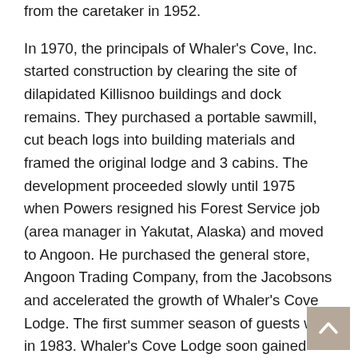from the caretaker in 1952.
In 1970, the principals of Whaler's Cove, Inc. started construction by clearing the site of dilapidated Killisnoo buildings and dock remains. They purchased a portable sawmill, cut beach logs into building materials and framed the original lodge and 3 cabins. The development proceeded slowly until 1975 when Powers resigned his Forest Service job (area manager in Yakutat, Alaska) and moved to Angoon. He purchased the general store, Angoon Trading Company, from the Jacobsons and accelerated the growth of Whaler's Cove Lodge. The first summer season of guests was in 1983. Whaler's Cove Lodge soon gained enough